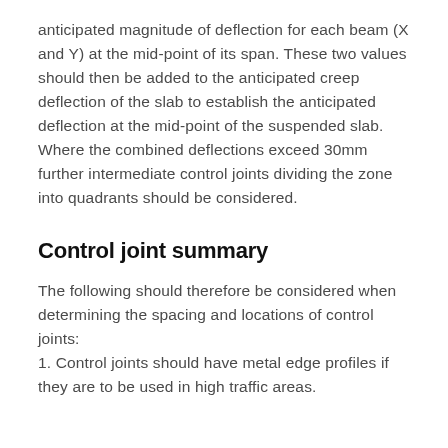anticipated magnitude of deflection for each beam (X and Y) at the mid-point of its span. These two values should then be added to the anticipated creep deflection of the slab to establish the anticipated deflection at the mid-point of the suspended slab. Where the combined deflections exceed 30mm further intermediate control joints dividing the zone into quadrants should be considered.
Control joint summary
The following should therefore be considered when determining the spacing and locations of control joints:
1. Control joints should have metal edge profiles if they are to be used in high traffic areas.